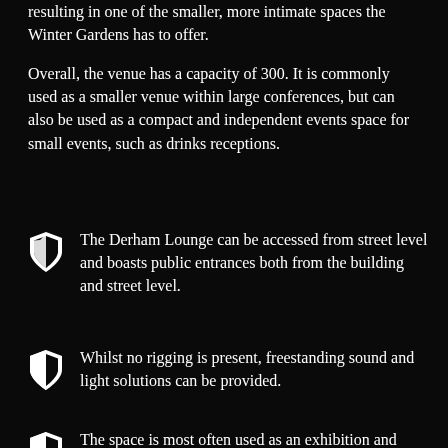resulting in one of the smaller, more intimate spaces the Winter Gardens has to offer.
Overall, the venue has a capacity of 300. It is commonly used as a smaller venue within large conferences, but can also be used as a compact and independent events space for small events, such as drinks receptions.
The Derham Lounge can be accessed from street level and boasts public entrances both from the building and street level.
Whilst no rigging is present, freestanding sound and light solutions can be provided.
The space is most often used as an exhibition and meeting space.